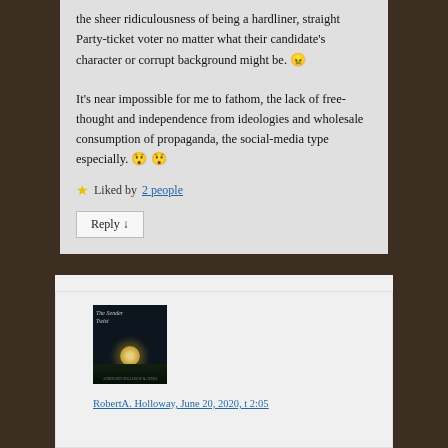the sheer ridiculousness of being a hardliner, straight Party-ticket voter no matter what their candidate's character or corrupt background might be. 😠
It's near impossible for me to fathom, the lack of free-thought and independence from ideologies and wholesale consumption of propaganda, the social-media type especially. 😲 😲
★ Liked by 2 people
Reply ↓
[Figure (illustration): Book cover thumbnail with dark night sky, moon reflection on water. Title reads 'The Sender Twist'.]
RobertA.Holloway, June 20, 2020 at 2:05...